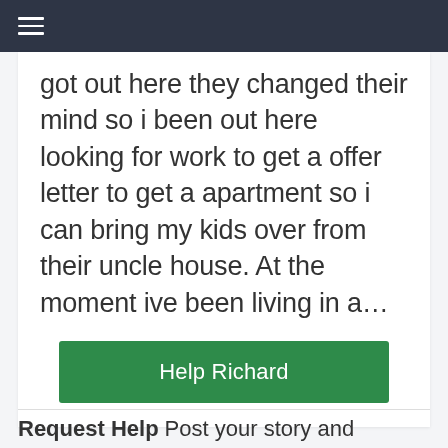≡
got out here they changed their mind so i been out here looking for work to get a offer letter to get a apartment so i can bring my kids over from their uncle house. At the moment ive been living in a...
Help Richard
Request Help Post your story and